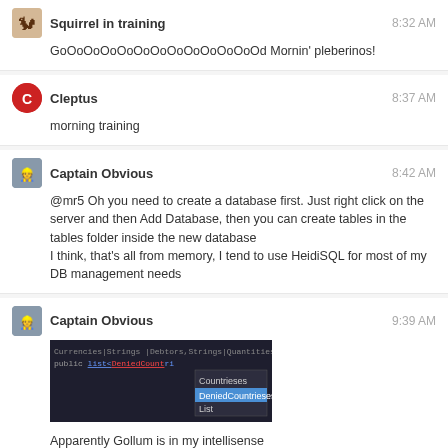Squirrel in training  8:32 AM
GoOoOoOoOoOoOoOoOoOoOoOoOd Mornin' pleberinos!
Cleptus  8:37 AM
morning training
Captain Obvious  8:42 AM
@mr5 Oh you need to create a database first. Just right click on the server and then Add Database, then you can create tables in the tables folder inside the new database
I think, that's all from memory, I tend to use HeidiSQL for most of my DB management needs
[Figure (screenshot): Screenshot of IDE intellisense dropdown showing 'Countrieses', 'DeniedCountrieses' (highlighted in blue), 'List']
Captain Obvious  9:39 AM
Apparently Gollum is in my intellisense
mr5  9:44 AM
@CaptainObvious this is kinda confusing for me. There's also SQL Server Management Studio. Should I use that instead of VS to structure my tables?
Captain Obvious  9:44 AM
No you s hould use EntityFramework
mr5  9:44 AM
huh?